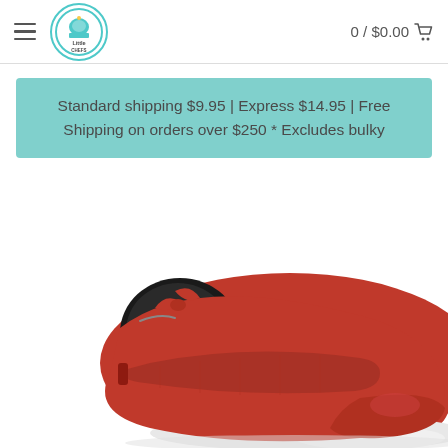Little Chefs logo | 0 / $0.00 cart
Standard shipping $9.95 | Express $14.95 | Free Shipping on orders over $250 * Excludes bulky
[Figure (photo): Red children's sneaker/shoe with velcro strap, photographed from above at an angle showing the toe and strap area]